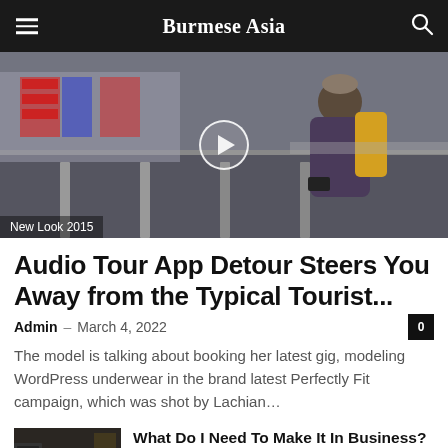Burmese Asia
[Figure (photo): A person standing at a train platform, wearing a beanie hat and yellow backpack, looking at their phone. A play button overlay is visible in the center. Label 'New Look 2015' at bottom left.]
Audio Tour App Detour Steers You Away from the Typical Tourist...
Admin – March 4, 2022
The model is talking about booking her latest gig, modeling WordPress underwear in the brand latest Perfectly Fit campaign, which was shot by Lachian...
[Figure (photo): Thumbnail image showing a laptop and sofa in a dark room setting.]
What Do I Need To Make It In Business?
March 4, 2022